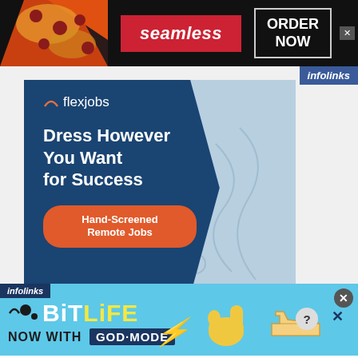[Figure (screenshot): Seamless food delivery ad banner with pizza image on left, red 'seamless' logo in center, 'ORDER NOW' button on right, dark background]
[Figure (screenshot): Flexjobs advertisement: dark navy blue background with text 'Dress However You Want for Success' and orange 'Hand-Screened Remote Jobs' button, light blue background with decorative curves]
[Figure (screenshot): BitLife 'NOW WITH GOD MODE' advertisement banner on sky blue background with cartoon hand pointing, infolinks badge, lightning bolt graphic]